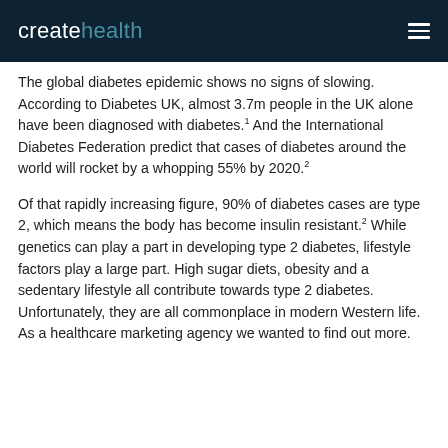createhealth
The global diabetes epidemic shows no signs of slowing. According to Diabetes UK, almost 3.7m people in the UK alone have been diagnosed with diabetes.1 And the International Diabetes Federation predict that cases of diabetes around the world will rocket by a whopping 55% by 2020.2
Of that rapidly increasing figure, 90% of diabetes cases are type 2, which means the body has become insulin resistant.2 While genetics can play a part in developing type 2 diabetes, lifestyle factors play a large part. High sugar diets, obesity and a sedentary lifestyle all contribute towards type 2 diabetes. Unfortunately, they are all commonplace in modern Western life. As a healthcare marketing agency we wanted to find out more.